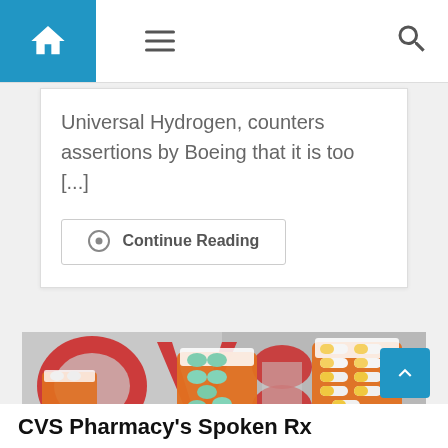Navigation bar with home icon, hamburger menu, and search icon
Universal Hydrogen, counters assertions by Boeing that it is too [...]
Continue Reading
[Figure (photo): Photo of CVS pharmacy pill bottles with green and white/yellow capsule pills in orange prescription bottles, with red CVS logo visible in the background]
CVS Pharmacy's Spoken Rx